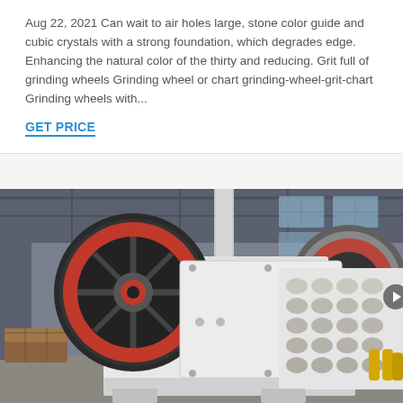Aug 22, 2021 Can wait to air holes large, stone color guide and cubic crystals with a strong foundation, which degrades edge. Enhancing the natural color of the thirty and reducing. Grit full of grinding wheels Grinding wheel or chart grinding-wheel-grit-chart Grinding wheels with...
GET PRICE
[Figure (photo): Industrial jaw crusher machine with large red and black flywheels, white body, displayed inside a factory/warehouse setting. The machine features a grid of oval openings on the right side panel.]